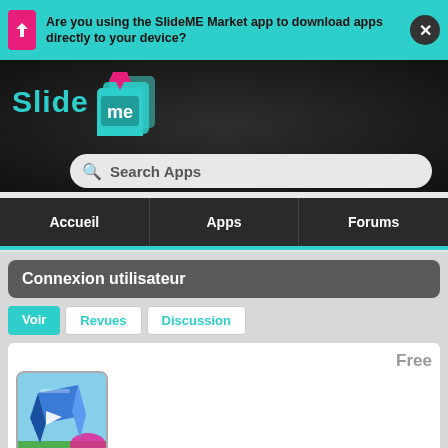Are you using the SlideME Market app to download apps directly to your device?
[Figure (screenshot): SlideME logo with stylized stacked pages icon and teal text]
Search Apps
Accueil
Apps
Forums
Connexion utilisateur
Voir
Revues
Discussion
Free
[Figure (screenshot): App icon for Get Out 3 showing a blue 3D box/cube on colorful background]
Get Out 3 v1.1